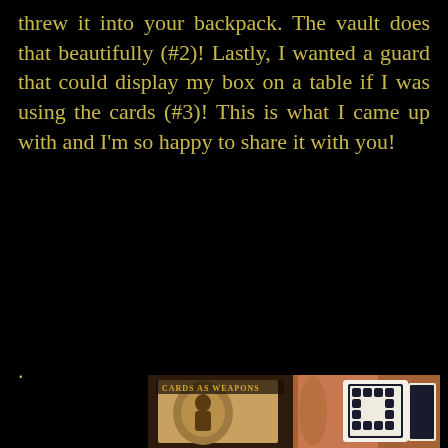threw it into your backpack. The vault does that beautifully (#2)! Lastly, I wanted a guard that could display my box on a table if I was using the cards (#3)! This is what I came up with and I'm so happy to share it with you!
.
[Figure (photo): A hand holding playing cards with a decorative black and white pattern on the back, in front of a 'Cards as Weapons' book/box.]